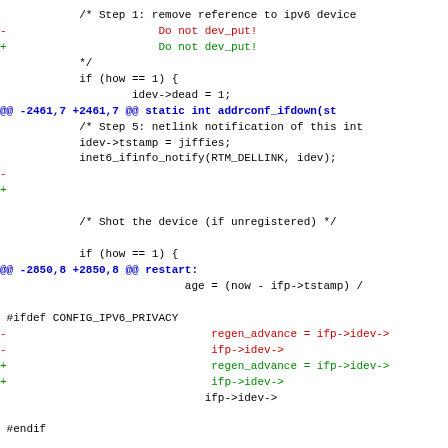[Figure (screenshot): A code diff showing changes to IPv6 networking code in C, with removed lines in red (prefixed with -), added lines in green (prefixed with +), hunk headers in blue, and unchanged context lines in black.]